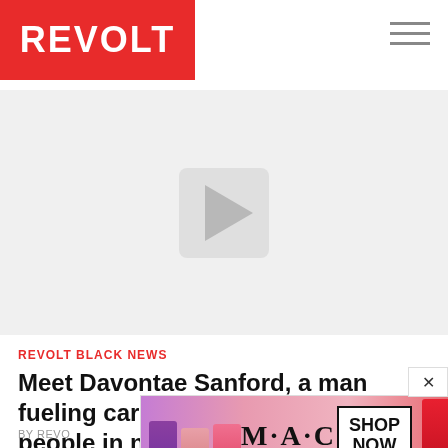REVOLT
[Figure (screenshot): Video player area showing a light gray background with a play button (triangle inside a rounded rectangle) in the center, indicating an embedded video.]
REVOLT BLACK NEWS
Meet Davontae Sanford, a man fueling cars and his hometown people in need
BY REVO...
[Figure (photo): MAC Cosmetics advertisement banner showing lipsticks in purple, pink, and red shades on a gradient background, with the MAC logo and a SHOP NOW button.]